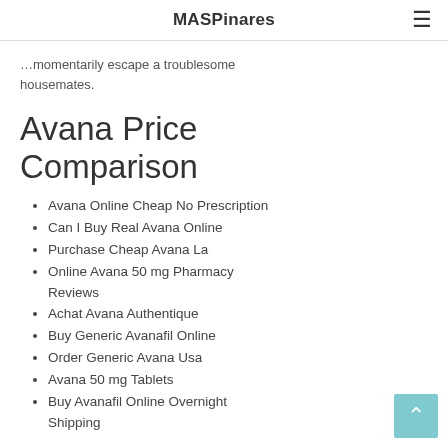MASPinares
…momentarily escape a troublesome housemates.
Avana Price Comparison
Avana Online Cheap No Prescription
Can I Buy Real Avana Online
Purchase Cheap Avana La
Online Avana 50 mg Pharmacy Reviews
Achat Avana Authentique
Buy Generic Avanafil Online
Order Generic Avana Usa
Avana 50 mg Tablets
Buy Avanafil Online Overnight Shipping